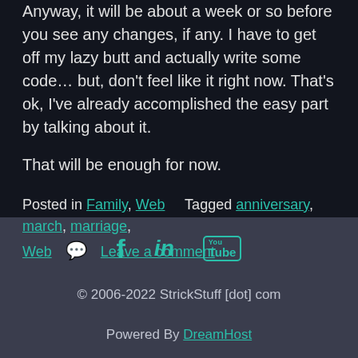Anyway, it will be about a week or so before you see any changes, if any. I have to get off my lazy butt and actually write some code... but, don't feel like it right now. That's ok, I've already accomplished the easy part by talking about it.
That will be enough for now.
Posted in Family, Web   Tagged anniversary, march, marriage, Web  Leave a comment
[Figure (infographic): Social media icons: Facebook (f), LinkedIn (in), YouTube (You Tube box icon) in teal color]
© 2006-2022 StrickStuff [dot] com
Powered By DreamHost